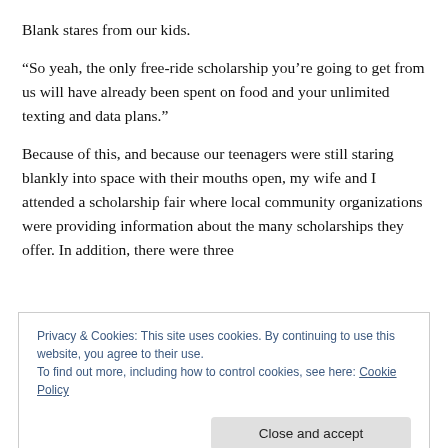Blank stares from our kids.
“So yeah, the only free-ride scholarship you’re going to get from us will have already been spent on food and your unlimited texting and data plans.”
Because of this, and because our teenagers were still staring blankly into space with their mouths open, my wife and I attended a scholarship fair where local community organizations were providing information about the many scholarships they offer. In addition, there were three
Privacy & Cookies: This site uses cookies. By continuing to use this website, you agree to their use.
To find out more, including how to control cookies, see here: Cookie Policy
staring blankly with our mouths open.